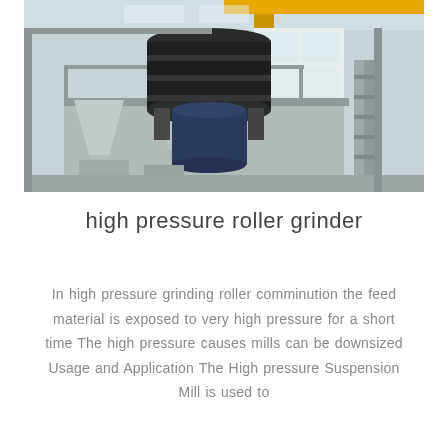[Figure (photo): Industrial high pressure roller grinder machine installed in a factory/warehouse setting. Large black cylindrical grinder unit mounted on an elevated metal platform with railings, surrounded by metal framework, hoppers, and industrial equipment. Bright white factory interior with overhead crane visible.]
high pressure roller grinder
In high pressure grinding roller comminution the feed material is exposed to very high pressure for a short time The high pressure causes mills can be downsized Usage and Application The High pressure Suspension Mill is used to